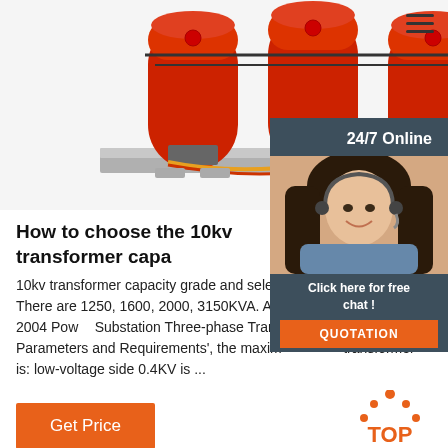[Figure (photo): Red dry-type 10kV transformer with three large red cylindrical coils mounted on a gray steel frame with wiring and connection components]
[Figure (photo): 24/7 Online chat widget with female customer service agent wearing headset, with 'Click here for free chat!' text and QUOTATION button]
How to choose the 10kv transformer capa
10kv transformer capacity grade and selection requirements. There are 1250, 1600, 2000, 3150KVA. According to 'JBT 2426-2004 Power Substation Three-phase Transformer Technical Parameters and Requirements', the maximum 10KV transformer is: low-voltage side 0.4KV is ...
Get Price